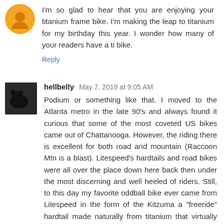I'm so glad to hear that you are enjoying your titanium frame bike. I'm making the leap to titanium for my birthday this year. I wonder how many of your readers have a ti bike.
Reply
hellbelly May 7, 2019 at 9:05 AM
Podium or something like that. I moved to the Atlanta metro in the late 90's and always found it curious that some of the most coveted US bikes came out of Chattanooga. However, the riding there is excellent for both road and mountain (Raccoon Mtn is a blast). Litespeed's hardtails and road bikes were all over the place down here back then under the most discerning and well heeled of riders. Still, to this day my favorite oddball bike ever came from Litespeed in the form of the Kitzuma a "freeride" hardtail made naturally from titanium that virtually no hardcore mountain bike "freerider" could afford. Congrats on yr "new" ride.
Reply